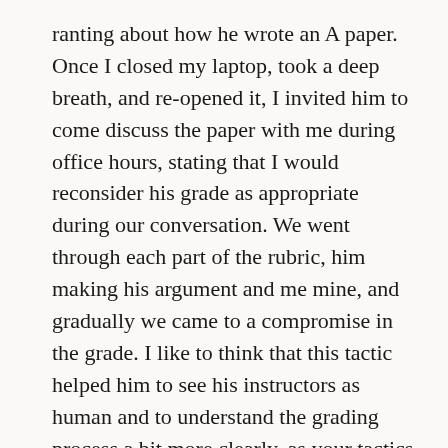ranting about how he wrote an A paper. Once I closed my laptop, took a deep breath, and re-opened it, I invited him to come discuss the paper with me during office hours, stating that I would reconsider his grade as appropriate during our conversation. We went through each part of the rubric, him making his argument and me mine, and gradually we came to a compromise in the grade. I like to think that this tactic helped him to see his instructors as human and to understand the grading process a bit more clearly, as your tactics likely do with these potentially salvagable students.
Log in to Reply